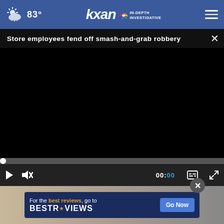83° kxan IN-DEPTH INVESTIGATIVE
Store employees fend off smash-and-grab robbery
[Figure (screenshot): Video player with black screen showing a paused news video. Progress bar at bottom with white circle at start position. Controls show play button, mute icon, timecode 00:00, captions icon, and fullscreen icon.]
[Figure (other): Advertisement banner for BestReviews reading 'For the best reviews, go to BESTREVIEWS' with a 'Go Now' button on blue background, overlaid on a content thumbnail.]